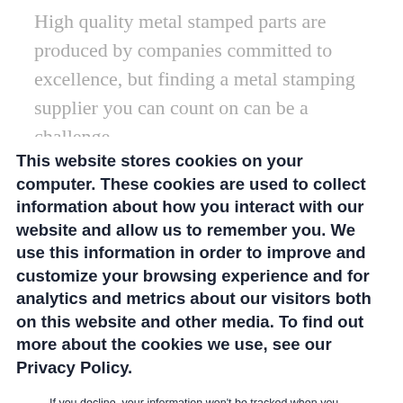High quality metal stamped parts are produced by companies committed to excellence, but finding a metal stamping supplier you can count on can be a challenge.
Unfortunately, costly delays, recalls and
This website stores cookies on your computer. These cookies are used to collect information about how you interact with our website and allow us to remember you. We use this information in order to improve and customize your browsing experience and for analytics and metrics about our visitors both on this website and other media. To find out more about the cookies we use, see our Privacy Policy.
If you decline, your information won't be tracked when you visit this website. A single cookie will be used in your browser to remember your preference not to be tracked.
Accept
Decline